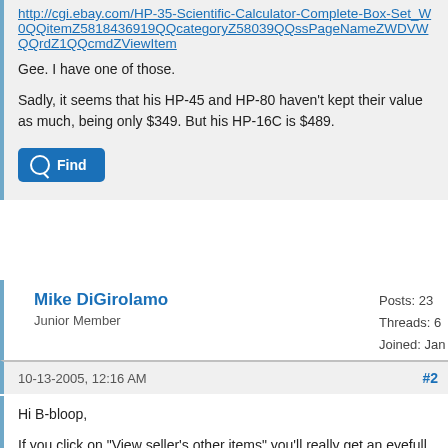http://cgi.ebay.com/HP-35-Scientific-Calculator-Complete-Box-Set_W0QQitemZ5818436919QQcategoryZ58039QQssPageNameZWDVWQQrdZ1QQcmdZViewItem
Gee. I have one of those.
Sadly, it seems that his HP-45 and HP-80 haven't kept their value as much, being only $349. But his HP-16C is $489.
Find
Mike DiGirolamo
Junior Member
Posts: 23
Threads: 6
Joined: Jan 1970
10-13-2005, 12:16 AM
#2
Hi B-bloop,
If you click on "View seller's other items" you'll really get an eyefull of shocking prices! This seller must often be getting their price because most or all of their auctions have only "buy-it-now" pricing. I also recognize this name as one frequently seen bidding on HP items.